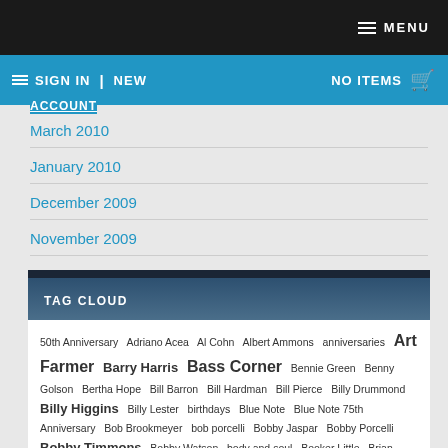MENU
SIGN IN | NEW ACCOUNT  NO ITEMS
March 2010
January 2010
December 2009
November 2009
TAG CLOUD
50th Anniversary  Adriano Acea  Al Cohn  Albert Ammons  anniversaries  Art Farmer  Barry Harris  Bass Corner  Bennie Green  Benny Golson  Bertha Hope  Bill Barron  Bill Hardman  Bill Pierce  Billy Drummond  Billy Higgins  Billy Lester  birthdays  Blue Note  Blue Note 75th Anniversary  Bob Brookmeyer  bob porcelli  Bobby Jaspar  Bobby Porcelli  Bobby Timmons  Bobby Watson  body and soul  Booker Little  Brian Lynch  Buddy Montgomery  Butch Warren  Carl Perkins  cecil payne  Cecilia Coleman  Charles Fambrough  Charles McPherson  Charli Persip  chick corea  Chris Cornell  Christmas song  Chuck Wayne  Clifford Brown